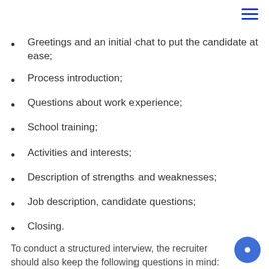Greetings and an initial chat to put the candidate at ease;
Process introduction;
Questions about work experience;
School training;
Activities and interests;
Description of strengths and weaknesses;
Job description, candidate questions;
Closing.
To conduct a structured interview, the recruiter should also keep the following questions in mind: